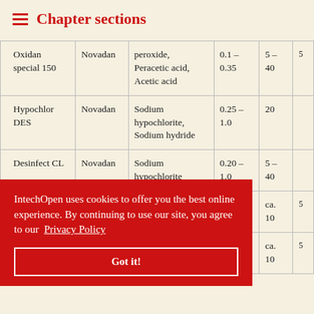Chapter sections
| Product | Manufacturer | Active substance | Concentration (%) | Temperature (°C) | Time (min) |
| --- | --- | --- | --- | --- | --- |
| Oxidan special 150 | Novadan | peroxide, Peracetic acid, Acetic acid | 0.1 – 0.35 | 5 – 40 | 5 |
| Hypochlor DES | Novadan | Sodium hypochlorite, Sodium hydride | 0.25 – 1.0 | 20 |  |
| Desinfect CL | Novadan | Sodium hypochlorite | 0.20 – 1.0 | 5 – 40 |  |
| P 3 Oxonia | Ecolab | Hydrogen peroxide | 0.5 – 1.0 | ca. 10 | 5 |
|  |  | Hydrogen | – 0.2 | ca. 10 | 5 |
IntechOpen uses cookies to offer you the best online experience. By continuing to use our site, you agree to our Privacy Policy